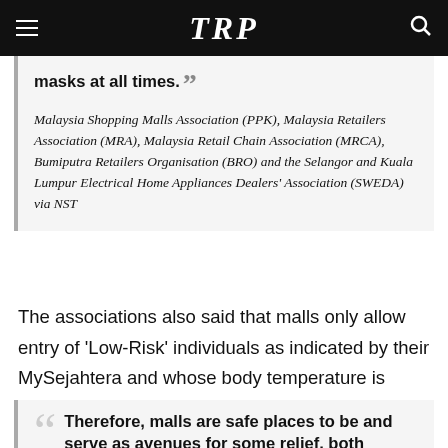TRP
masks at all times.
Malaysia Shopping Malls Association (PPK), Malaysia Retailers Association (MRA), Malaysia Retail Chain Association (MRCA), Bumiputra Retailers Organisation (BRO) and the Selangor and Kuala Lumpur Electrical Home Appliances Dealers' Association (SWEDA) via NST
The associations also said that malls only allow entry of 'Low-Risk' individuals as indicated by their MySejahtera and whose body temperature is below 37.5 degrees Celsius.
Therefore, malls are safe places to be and serve as avenues for some relief, both